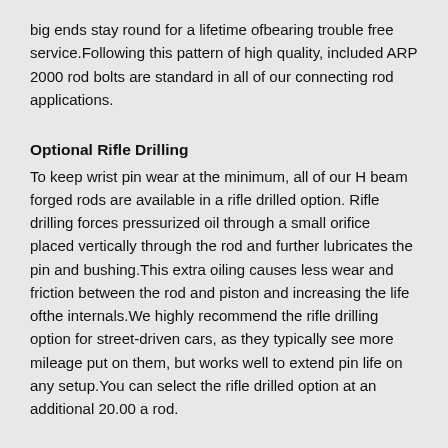big ends stay round for a lifetime ofbearing trouble free service.Following this pattern of high quality, included ARP 2000 rod bolts are standard in all of our connecting rod applications.
Optional Rifle Drilling
To keep wrist pin wear at the minimum, all of our H beam forged rods are available in a rifle drilled option. Rifle drilling forces pressurized oil through a small orifice placed vertically through the rod and further lubricates the pin and bushing.This extra oiling causes less wear and friction between the rod and piston and increasing the life ofthe internals.We highly recommend the rifle drilling option for street-driven cars, as they typically see more mileage put on them, but works well to extend pin life on any setup.You can select the rifle drilled option at an additional 20.00 a rod.